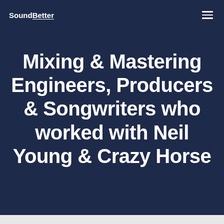SoundBetter
Mixing & Mastering Engineers, Producers & Songwriters who worked with Neil Young & Crazy Horse